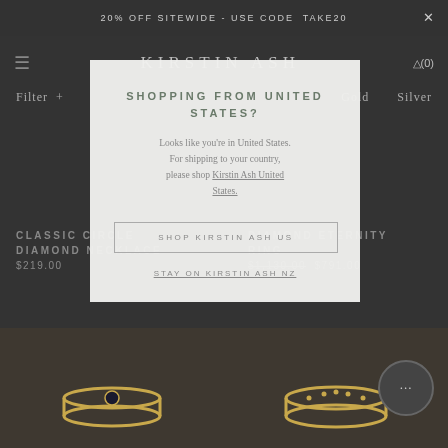20% OFF SITEWIDE - USE CODE TAKE20
KIRSTIN ASH
Filter +   Gold   Silver
SHOPPING FROM UNITED STATES?
Looks like you're in United States. For shipping to your country, please shop Kirstin Ash United States.
SHOP KIRSTIN ASH US
STAY ON KIRSTIN ASH NZ
CLASSIC CIRCLE DIAMOND NECKLACE
$219.00
DIAMOND ETERNITY RING
$1,130.00  $791.00
[Figure (photo): Gold ring with small dark stone, photographed against dark background]
[Figure (photo): Gold eternity ring photographed against dark background]